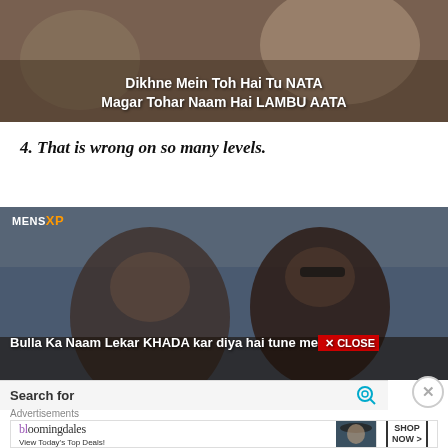[Figure (screenshot): Blurred image of a person with white bold text overlay reading: 'Dikhne Mein Toh Hai Tu NATA Magar Tohar Naam Hai LAMBU AATA']
4. That is wrong on so many levels.
[Figure (screenshot): MensXP branded screenshot showing two blurred people with white bold text overlay: 'Bulla Ka Naam Lekar KHADA kar diya hai tune mera' and a red CLOSE button in the corner]
Search for
Advertisements
[Figure (screenshot): Bloomingdale's advertisement banner: 'bloomingdales - View Today's Top Deals!' with a model wearing a hat and a 'SHOP NOW >' button]